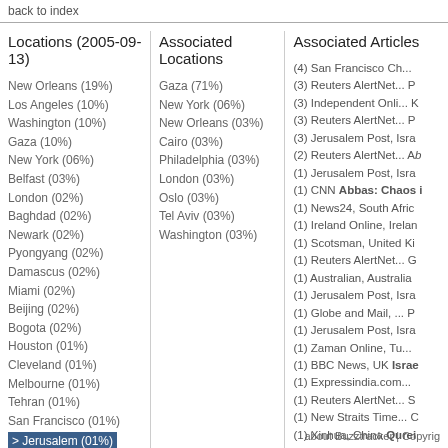back to index
Locations (2005-09-13)
New Orleans (19%)
Los Angeles (10%)
Washington (10%)
Gaza (10%)
New York (06%)
Belfast (03%)
London (02%)
Baghdad (02%)
Newark (02%)
Pyongyang (02%)
Damascus (02%)
Miami (02%)
Beijing (02%)
Bogota (02%)
Houston (01%)
Cleveland (01%)
Melbourne (01%)
Tehran (01%)
San Francisco (01%)
> Jerusalem (01%)
View Archive (2005)
Associated Locations
Gaza (71%)
New York (06%)
New Orleans (03%)
Cairo (03%)
Philadelphia (03%)
London (03%)
Oslo (03%)
Tel Aviv (03%)
Washington (03%)
Associated Articles
(4) San Francisco Ch...
(3) Reuters AlertNet... P
(3) Independent Onli... K
(3) Reuters AlertNet... P
(3) Jerusalem Post, Isra
(2) Reuters AlertNet... Ab
(1) Jerusalem Post, Isra
(1) CNN Abbas: Chaos i
(1) News24, South Afric
(1) Ireland Online, Irelan
(1) Scotsman, United Ki
(1) Reuters AlertNet... G
(1) Australian, Australia
(1) Jerusalem Post, Isra
(1) Globe and Mail, ... P
(1) Jerusalem Post, Isra
(1) Zaman Online, Tu...
(1) BBC News, UK Israel
(1) Expressindia.com...
(1) Reuters AlertNet... S
(1) New Straits Time... C
(1) Xinhua, China Qurei
about Buzztracker | Copyrig